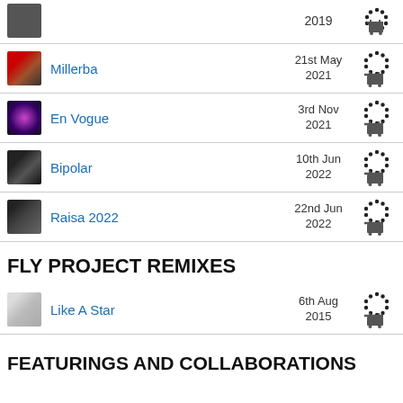2019
Millerba — 21st May 2021
En Vogue — 3rd Nov 2021
Bipolar — 10th Jun 2022
Raisa 2022 — 22nd Jun 2022
FLY PROJECT REMIXES
Like A Star — 6th Aug 2015
FEATURINGS AND COLLABORATIONS